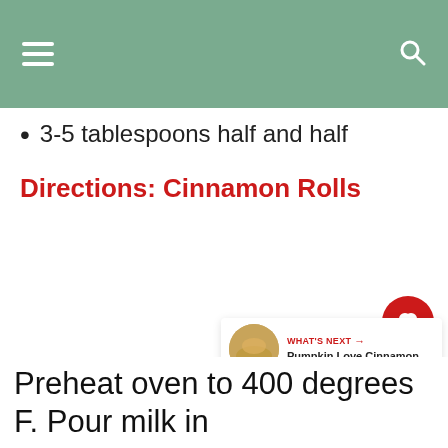≡  🔍
3-5 tablespoons half and half
Directions: Cinnamon Rolls
Preheat oven to 400 degrees F. Pour milk in